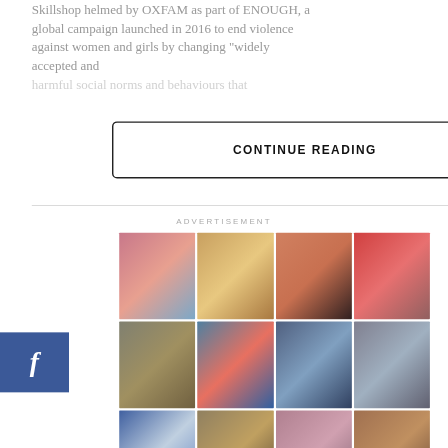Skillshop helmed by OXFAM as part of ENOUGH, a global campaign launched in 2016 to end violence against women and girls by changing "widely accepted and
CONTINUE READING
ADVERTISEMENT
[Figure (photo): 3x4 grid of photos showing various LGBTQIA Filipino individuals in different settings including markets, streets, and posed portraits]
Help us tell the stories of LGBTQIA Filipinos.
DONATE NOW